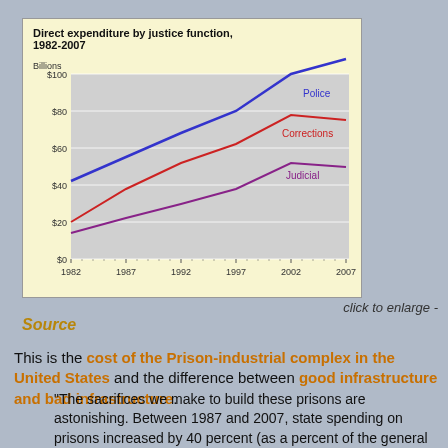[Figure (line-chart): Direct expenditure by justice function, 1982-2007]
click to enlarge -
Source
This is the cost of the Prison-industrial complex in the United States and the difference between good infrastructure and bad infrastructure.
"The sacrifices we make to build these prisons are astonishing. Between 1987 and 2007, state spending on prisons increased by 40 percent (as a percent of the general fund). State spending on higher education decreased by 30 percent. We